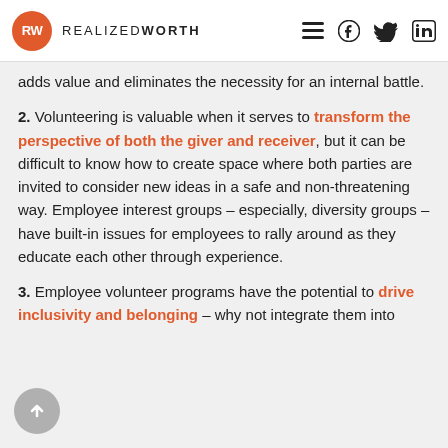REALIZED WORTH
adds value and eliminates the necessity for an internal battle.
2. Volunteering is valuable when it serves to transform the perspective of both the giver and receiver, but it can be difficult to know how to create space where both parties are invited to consider new ideas in a safe and non-threatening way. Employee interest groups – especially, diversity groups – have built-in issues for employees to rally around as they educate each other through experience.
3. Employee volunteer programs have the potential to drive inclusivity and belonging – why not integrate them into